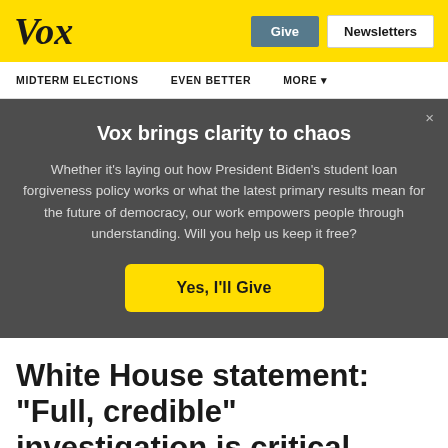Vox
Give | Newsletters
MIDTERM ELECTIONS  EVEN BETTER  MORE
Vox brings clarity to chaos
Whether it’s laying out how President Biden’s student loan forgiveness policy works or what the latest primary results mean for the future of democracy, our work empowers people through understanding. Will you help us keep it free?
Yes, I'll Give
White House statement: "Full, credible" investigation is critical